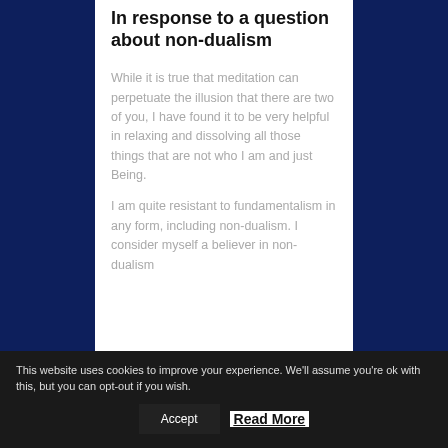In response to a question about non-dualism
While it is true that meditation can perpetuate the illusion that there are two of you, I have found it to be very helpful in relaxing and dissolving all those things that are not who I am and just Being.
I am quite resistant to fundamentalism in any form, including non-dualism. I consider myself a believer in non-dualism
This website uses cookies to improve your experience. We'll assume you're ok with this, but you can opt-out if you wish. Accept Read More